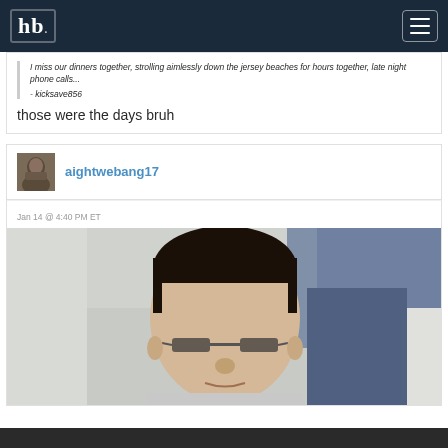hb
I miss our dinners together, strolling aimlessly down the jersey beaches for hours together, late night phone calls...
- kicksave856
those were the days bruh
aightwebang17
Jan 14 @ 4:40 PM ET
[Figure (photo): Photo of a young man with dark hair and glasses, cropped to show face and upper body, outdoor setting with blurred background]